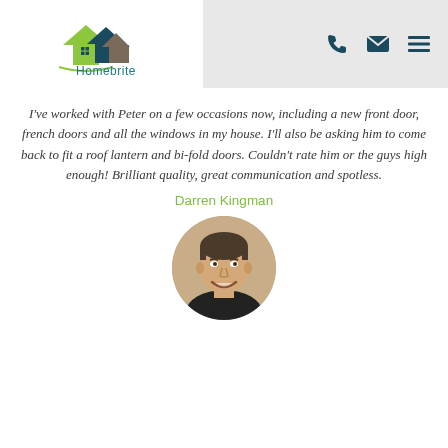[Figure (logo): Homebrite logo with house icons in green, navy, and brown, and teal text 'Homebrite' below]
[Figure (other): Navigation bar icons: phone, envelope, and hamburger menu in dark teal on gray background]
I've worked with Peter on a few occasions now, including a new front door, french doors and all the windows in my house. I'll also be asking him to come back to fit a roof lantern and bi-fold doors. Couldn't rate him or the guys high enough! Brilliant quality, great communication and spotless.
Darren Kingman
[Figure (photo): Circular profile photo of a young man smiling, short dark hair]